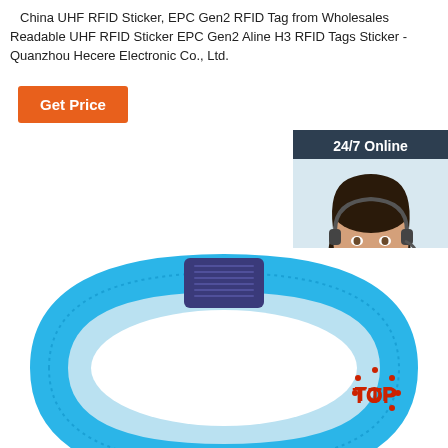China UHF RFID Sticker, EPC Gen2 RFID Tag from Wholesales Readable UHF RFID Sticker EPC Gen2 Aline H3 RFID Tags Sticker - Quanzhou Hecere Electronic Co., Ltd.
Get Price
[Figure (photo): 24/7 Online customer support representative - woman with headset smiling, with 'Click here for free chat!' text and QUOTATION button]
[Figure (photo): Blue RFID wristband/bracelet with dark blue rectangular RFID chip module, shown on white background with a red/orange TOP badge in corner]